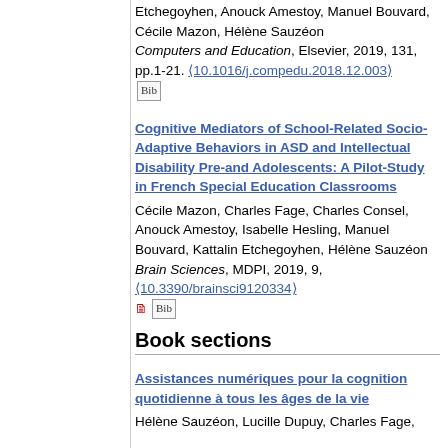Etchegoyhen, Anouck Amestoy, Manuel Bouvard, Cécile Mazon, Hélène Sauzéon. Computers and Education, Elsevier, 2019, 131, pp.1-21. ⟨10.1016/j.compedu.2018.12.003⟩ [Bib]
Cognitive Mediators of School-Related Socio- Adaptive Behaviors in ASD and Intellectual Disability Pre-and Adolescents: A Pilot-Study in French Special Education Classrooms
Cécile Mazon, Charles Fage, Charles Consel, Anouck Amestoy, Isabelle Hesling, Manuel Bouvard, Kattalin Etchegoyhen, Hélène Sauzéon
Brain Sciences, MDPI, 2019, 9,
⟨10.3390/brainsci9120334⟩ [PDF] [Bib]
Book sections
Assistances numériques pour la cognition quotidienne à tous les âges de la vie
Hélène Sauzéon, Lucille Dupuy, Charles Fage,